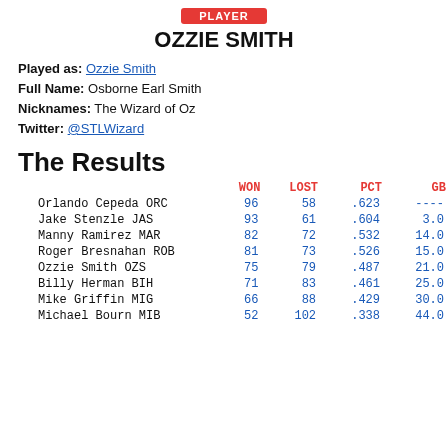OZZIE SMITH
Played as: Ozzie Smith
Full Name: Osborne Earl Smith
Nicknames: The Wizard of Oz
Twitter: @STLWizard
The Results
|  | WON | LOST | PCT | GB |
| --- | --- | --- | --- | --- |
| Orlando Cepeda ORC | 96 | 58 | .623 | ---- |
| Jake Stenzle JAS | 93 | 61 | .604 | 3.0 |
| Manny Ramirez MAR | 82 | 72 | .532 | 14.0 |
| Roger Bresnahan ROB | 81 | 73 | .526 | 15.0 |
| Ozzie Smith OZS | 75 | 79 | .487 | 21.0 |
| Billy Herman BIH | 71 | 83 | .461 | 25.0 |
| Mike Griffin MIG | 66 | 88 | .429 | 30.0 |
| Michael Bourn MIB | 52 | 102 | .338 | 44.0 |